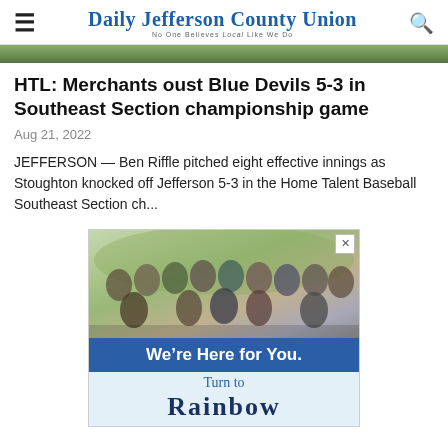Daily Jefferson County Union
[Figure (photo): Top portion of a photo (cropped), showing greenery/outdoor scene]
HTL: Merchants oust Blue Devils 5-3 in Southeast Section championship game
Aug 21, 2022
JEFFERSON — Ben Riffle pitched eight effective innings as Stoughton knocked off Jefferson 5-3 in the Home Talent Baseball Southeast Section ch...
[Figure (photo): Advertisement showing a group of people with text 'We're Here for You. Turn to Rainbow']